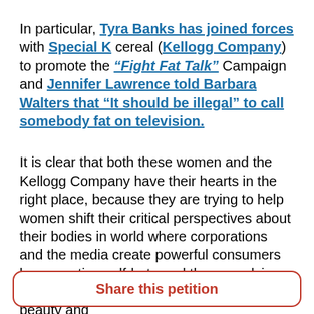In particular, Tyra Banks has joined forces with Special K cereal (Kellogg Company) to promote the "Fight Fat Talk" Campaign and Jennifer Lawrence told Barbara Walters that "It should be illegal" to call somebody fat on television.
It is clear that both these women and the Kellogg Company have their hearts in the right place, because they are trying to help women shift their critical perspectives about their bodies in world where corporations and the media create powerful consumers by promoting self-hate and then supplying flawed solutions in the form of fashion, beauty and
Share this petition